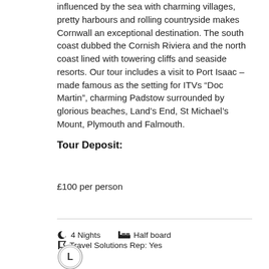influenced by the sea with charming villages, pretty harbours and rolling countryside makes Cornwall an exceptional destination. The south coast dubbed the Cornish Riviera and the north coast lined with towering cliffs and seaside resorts. Our tour includes a visit to Port Isaac – made famous as the setting for ITVs “Doc Martin”, charming Padstow surrounded by glorious beaches, Land’s End, St Michael’s Mount, Plymouth and Falmouth.
Tour Deposit:
£100 per person
4 Nights   Half board   Travel Solutions Rep: Yes